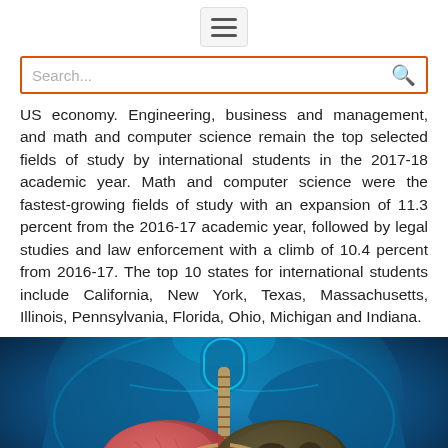≡ (hamburger menu icon)
Search...
US economy. Engineering, business and management, and math and computer science remain the top selected fields of study by international students in the 2017-18 academic year. Math and computer science were the fastest-growing fields of study with an expansion of 11.3 percent from the 2016-17 academic year, followed by legal studies and law enforcement with a climb of 10.4 percent from 2016-17. The top 10 states for international students include California, New York, Texas, Massachusetts, Illinois, Pennsylvania, Florida, Ohio, Michigan and Indiana.
[Figure (illustration): Medical illustration of a human torso (neck and chest area) with a glowing blue body outline, showing the trachea and two lungs: one healthy pink lung on the left and one diseased/darkened lung on the right, suggesting lung disease or the effects of smoking.]